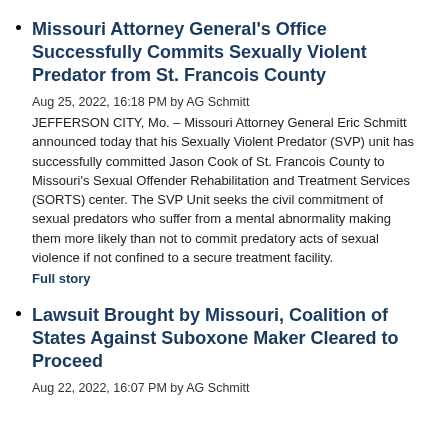Missouri Attorney General's Office Successfully Commits Sexually Violent Predator from St. Francois County
Aug 25, 2022, 16:18 PM by AG Schmitt
JEFFERSON CITY, Mo. – Missouri Attorney General Eric Schmitt announced today that his Sexually Violent Predator (SVP) unit has successfully committed Jason Cook of St. Francois County to Missouri's Sexual Offender Rehabilitation and Treatment Services (SORTS) center. The SVP Unit seeks the civil commitment of sexual predators who suffer from a mental abnormality making them more likely than not to commit predatory acts of sexual violence if not confined to a secure treatment facility.
Full story
Lawsuit Brought by Missouri, Coalition of States Against Suboxone Maker Cleared to Proceed
Aug 22, 2022, 16:07 PM by AG Schmitt